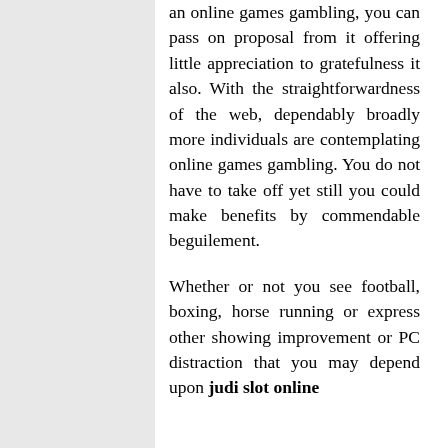an online games gambling, you can pass on proposal from it offering little appreciation to gratefulness it also. With the straightforwardness of the web, dependably broadly more individuals are contemplating online games gambling. You do not have to take off yet still you could make benefits by commendable beguilement.
Whether or not you see football, boxing, horse running or express other showing improvement or PC distraction that you may depend upon judi slot online